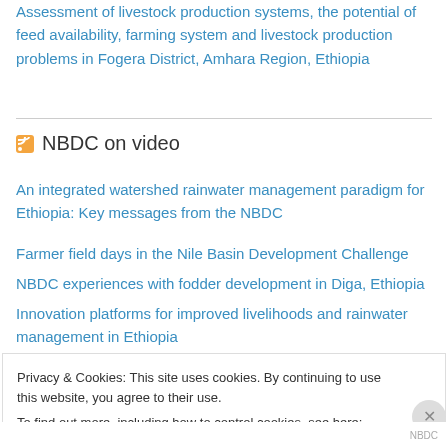Assessment of livestock production systems, the potential of feed availability, farming system and livestock production problems in Fogera District, Amhara Region, Ethiopia
NBDC on video
An integrated watershed rainwater management paradigm for Ethiopia: Key messages from the NBDC
Farmer field days in the Nile Basin Development Challenge
NBDC experiences with fodder development in Diga, Ethiopia
Innovation platforms for improved livelihoods and rainwater management in Ethiopia
Privacy & Cookies: This site uses cookies. By continuing to use this website, you agree to their use. To find out more, including how to control cookies, see here: Cookie Policy
NBDC